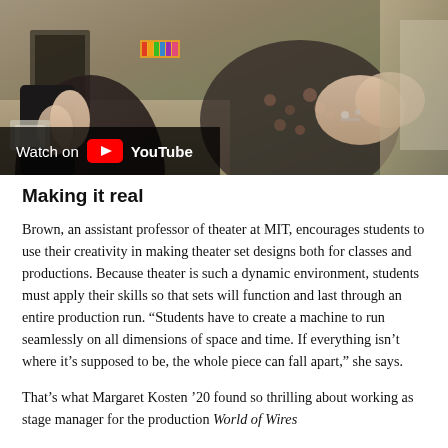[Figure (photo): Photo of a person working on theater set designs or props, shown from mid-torso down. Person appears to be holding or manipulating small objects. A YouTube playback overlay bar is visible at the bottom left with 'Watch on YouTube'.]
Making it real
Brown, an assistant professor of theater at MIT, encourages students to use their creativity in making theater set designs both for classes and productions. Because theater is such a dynamic environment, students must apply their skills so that sets will function and last through an entire production run. “Students have to create a machine to run seamlessly on all dimensions of space and time. If everything isn’t where it’s supposed to be, the whole piece can fall apart,” she says.
That’s what Margaret Kosten ’20 found so thrilling about working as stage manager for the production World of Wires...